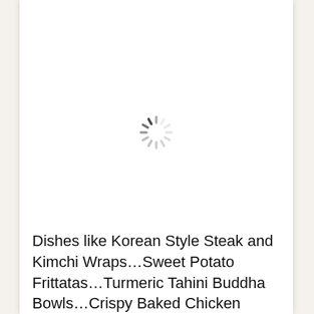[Figure (other): A loading spinner icon (circular dashed wheel) centered on the page, indicating content is loading.]
Dishes like Korean Style Steak and Kimchi Wraps…Sweet Potato Frittatas…Turmeric Tahini Buddha Bowls…Crispy Baked Chicken